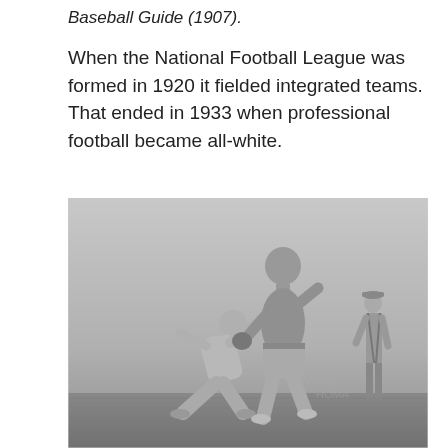Baseball Guide (1907).
When the National Football League was formed in 1920 it fielded integrated teams. That ended in 1933 when professional football became all-white.
[Figure (photo): A black and white historical photograph showing two men boxing or wrestling outdoors, one shirtless and one partially clothed, with a third man standing in the background. The image appears to be from the early 20th century, with text faintly visible reading 'OMA' in the lower right area of the photo.]